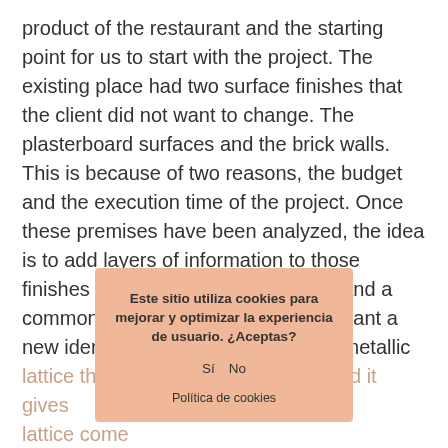product of the restaurant and the starting point for us to start with the project. The existing place had two surface finishes that the client did not want to change. The plasterboard surfaces and the brick walls. This is because of two reasons, the budget and the execution time of the project. Once these premises have been analyzed, the idea is to add layers of information to those finishes and create a new language and a common thread that gives the restaurant a new identity. To do this, we create a metallic lattice that show the existing walls and it gives... lattice come... world of agriculture and... This geometry is present in the closing perimeter structures in both worlds. This lattice...
Este sitio utiliza cookies para mejorar y optimizar la experiencia de usuario. ¿Aceptas?
Sí   No
Política de cookies